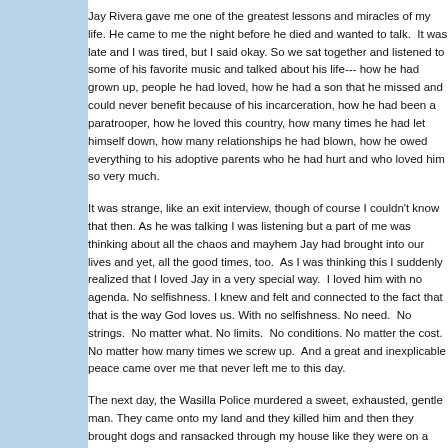Jay Rivera gave me one of the greatest lessons and miracles of my life. He came to me the night before he died and wanted to talk. It was late and I was tired, but I said okay. So we sat together and listened to some of his favorite music and talked about his life--- how he had grown up, people he had loved, how he had a son that he missed and could never benefit because of his incarceration, how he had been a paratrooper, how he loved this country, how many times he had let himself down, how many relationships he had blown, how he owed everything to his adoptive parents who he had hurt and who loved him so very much.
It was strange, like an exit interview, though of course I couldn't know that then. As he was talking I was listening but a part of me was thinking about all the chaos and mayhem Jay had brought into our lives and yet, all the good times, too. As I was thinking this I suddenly realized that I loved Jay in a very special way. I loved him with no agenda. No selfishness. I knew and felt and connected to the fact that that is the way God loves us. With no selfishness. No need. No strings. No matter what. No limits. No conditions. No matter the cost. No matter how many times we screw up. And a great and inexplicable peace came over me that never left me to this day.
The next day, the Wasilla Police murdered a sweet, exhausted, gentle man. They came onto my land and they killed him and then they brought dogs and ransacked through my house like they were on a drug bust. No warrant. No nothing. That is what they are paid to do. And of course, they didn't find anything and sat outside in a menacing fashion for hours afterward.
It's the height of ignorance and stupidity for anyone including R...